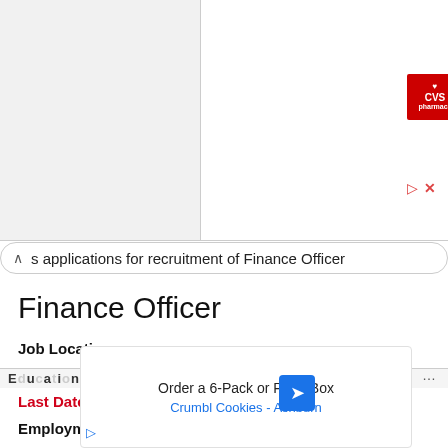[Figure (screenshot): CVS Pharmacy advertisement with logo and checkmarks for In-store shopping and Drive-through options]
s applications for recruitment of Finance Officer
Finance Officer
Job Location:
JNU, New Delhi, 110067 Delhi
Last Date: 11th March 2022
Employment Type: Full-time
Number of Vacancy: 1 Posts
[Figure (screenshot): Advertisement for Crumbl Cookies - Ashburn: Order a 6-Pack or Party Box]